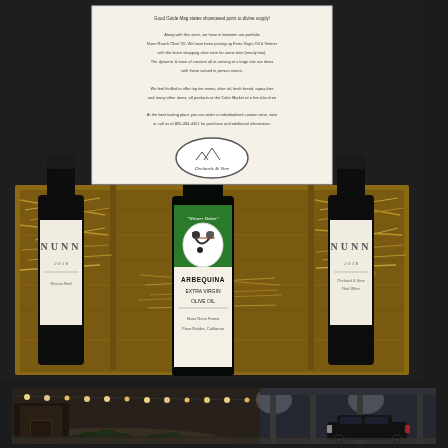[Figure (photo): A wooden gift box containing three bottles: two Nunn brand wine bottles (2018 Rincon Red and 2018 Orchard & Vine Red Wine) and one bottle of Arbequina Extra Virgin Olive Oil from Nunn Farms, Paso Robles California. A promotional card with the Orchards & Vine logo is propped in the center of the box surrounded by straw packing material.]
[Figure (photo): An exterior nighttime photo of what appears to be a winery or event venue with string lights overhead, rustic wooden architecture, landscaping with shrubs, and a dark SUV parked under a covered structure with bright overhead lighting.]